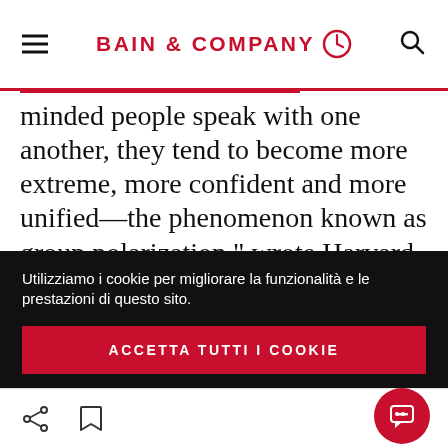BAIN & COMPANY
minded people speak with one another, they tend to become more extreme, more confident and more unified—the phenomenon known as group polarization," wrote Harvard Law School Professor Cass R. Sunstein in an analysis of the shutdown. "If you're in a group whose members think the Affordable Care Act is horrible, you'll
Utilizziamo i cookie per migliorare la funzionalità e le prestazioni di questo sito.
ACCETTA TUTTI I COOKIE